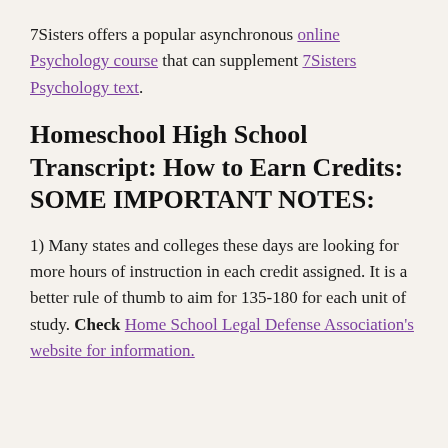7Sisters offers a popular asynchronous online Psychology course that can supplement 7Sisters Psychology text.
Homeschool High School Transcript: How to Earn Credits: SOME IMPORTANT NOTES:
1) Many states and colleges these days are looking for more hours of instruction in each credit assigned. It is a better rule of thumb to aim for 135-180 for each unit of study. Check Home School Legal Defense Association's website for information.